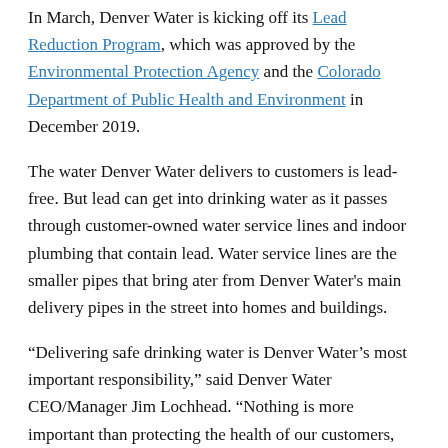In March, Denver Water is kicking off its Lead Reduction Program, which was approved by the Environmental Protection Agency and the Colorado Department of Public Health and Environment in December 2019.
The water Denver Water delivers to customers is lead-free. But lead can get into drinking water as it passes through customer-owned water service lines and indoor plumbing that contain lead. Water service lines are the smaller pipes that bring ater from Denver Water's main delivery pipes in the street into homes and buildings.
“Delivering safe drinking water is Denver Water’s most important responsibility,” said Denver Water CEO/Manager Jim Lochhead. “Nothing is more important than protecting the health of our customers, especially children.”
Lochhead said the program is recommended by...